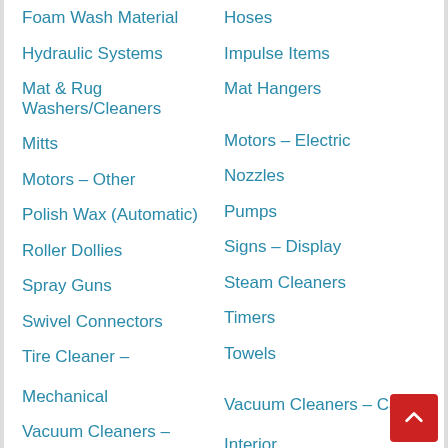Foam Wash Material
Hoses
Hydraulic Systems
Impulse Items
Mat & Rug Washers/Cleaners
Mat Hangers
Mitts
Motors – Electric
Motors – Other
Nozzles
Polish Wax (Automatic)
Pumps
Roller Dollies
Signs – Display
Spray Guns
Steam Cleaners
Swivel Connectors
Timers
Tire Cleaner – Mechanical
Towels
Vacuum Cleaners – Building Premises
Vacuum Cleaners – Car Interior
Vacuum Tools